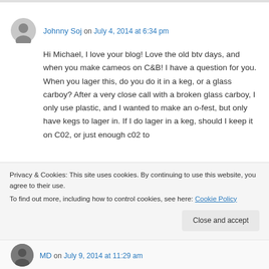Johnny Soj on July 4, 2014 at 6:34 pm
Hi Michael, I love your blog! Love the old btv days, and when you make cameos on C&B! I have a question for you. When you lager this, do you do it in a keg, or a glass carboy? After a very close call with a broken glass carboy, I only use plastic, and I wanted to make an o-fest, but only have kegs to lager in. If I do lager in a keg, should I keep it on C02, or just enough c02 to
Privacy & Cookies: This site uses cookies. By continuing to use this website, you agree to their use. To find out more, including how to control cookies, see here: Cookie Policy
Close and accept
MD on July 9, 2014 at 11:29 am